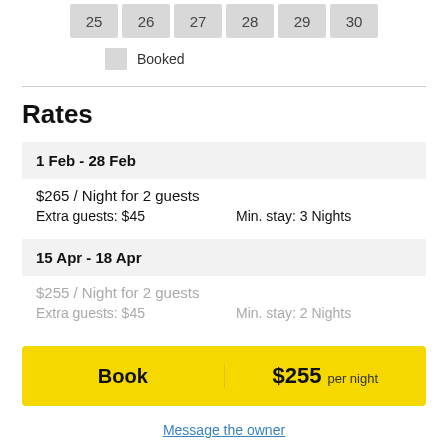| 25 | 26 | 27 | 28 | 29 | 30 |
| --- | --- | --- | --- | --- | --- |
Booked
Rates
1 Feb - 28 Feb
$265 / Night for 2 guests
Extra guests: $45   Min. stay: 3 Nights
15 Apr - 18 Apr
$255 / Night for 2 guests
Extra guests: $45   Min. stay: 2 Nights
Book   $255 per night
Message the owner